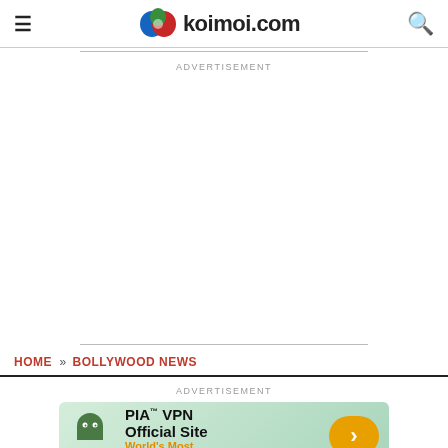koimoi.com
ADVERTISEMENT
HOME » BOLLYWOOD NEWS
ADVERTISEMENT
[Figure (infographic): PIA VPN Official Site banner advertisement with green ghost mascot, text 'PIA™ VPN Official Site', tagline 'World's Most Trusted VPN', and orange arrow button]